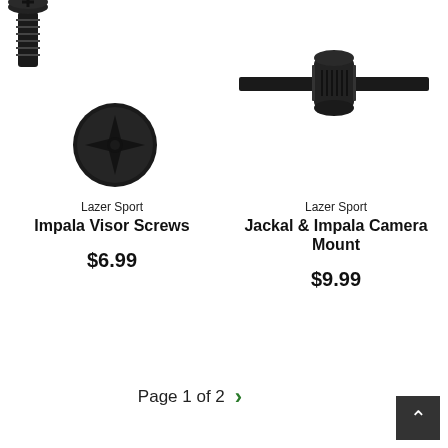[Figure (photo): Black screws/bolts product image for Impala Visor Screws - left card]
Lazer Sport
Impala Visor Screws
$6.99
[Figure (photo): Black camera mount product image for Jackal & Impala Camera Mount - right card]
Lazer Sport
Jackal & Impala Camera Mount
$9.99
Page 1 of 2